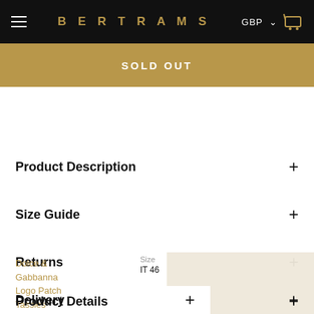BERTRAMS  GBP
SOLD OUT
Product Description +
Size Guide +
Returns +
Delivery +
Product Details +
Dolce & Gabbanna Logo Patch Tassles Bottoms $150.00
Size IT 46